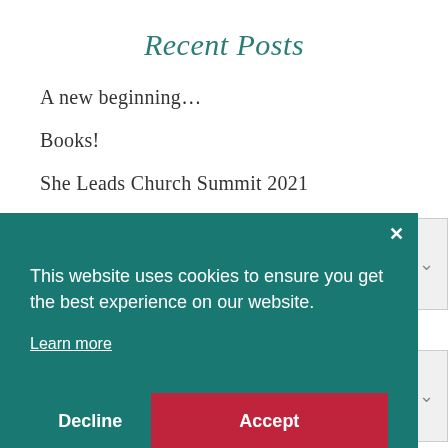Recent Posts
A new beginning…
Books!
She Leads Church Summit 2021
This website uses cookies to ensure you get the best experience on our website.

Learn more
Decline   Accept